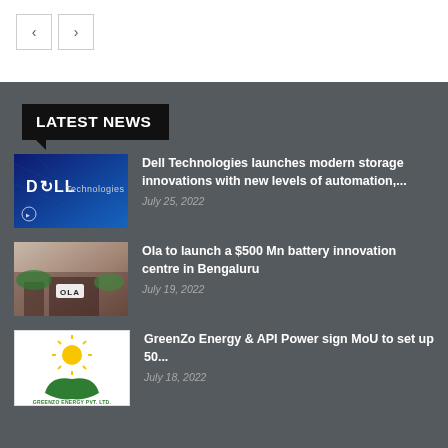[Figure (screenshot): Navigation previous and next arrow buttons]
LATEST NEWS
[Figure (photo): Dell Technologies logo on blue technology background]
Dell Technologies launches modern storage innovations with new levels of automation,...
July 25, 2022
[Figure (photo): Ola building exterior with greenery]
Ola to launch a $500 Mn battery innovation centre in Bengaluru
July 19, 2022
[Figure (logo): GreenZo Energy Pvt. Ltd. logo with sun and hand]
GreenZo Energy & API Power sign MoU to set up 50...
July 18, 2022